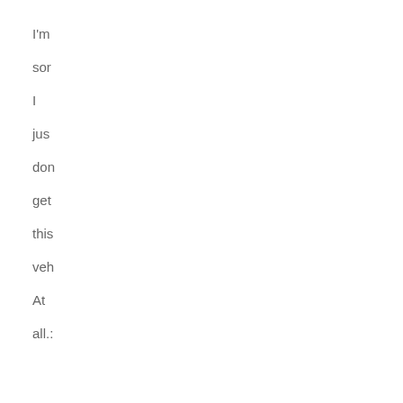I'm sorry I just don't get this very. At all.
[Figure (photo): A narrow vertical strip of a photo showing an airfield or runway with grey tarmac and a thin line of green grass/trees at the horizon under a blue sky.]
Some reason sweet ma The